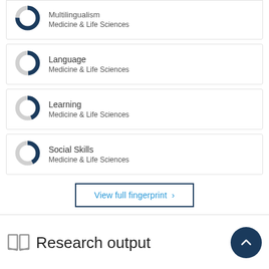Multilingualism – Medicine & Life Sciences (partial, top cut off)
Language – Medicine & Life Sciences
Learning – Medicine & Life Sciences
Social Skills – Medicine & Life Sciences
View full fingerprint ›
Research output